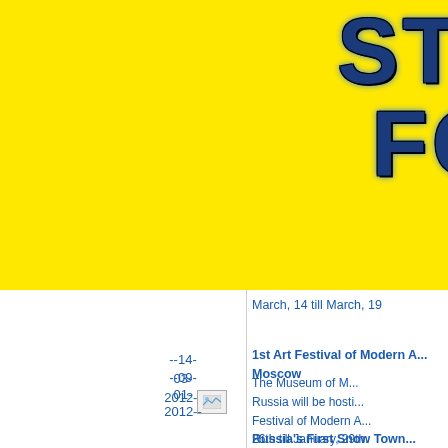STANDING FOR PEACE
March, 14 till March, 19
--14-03-2012--
1st Art Festival of Modern A... Moscow
[Figure (photo): Small image placeholder related to the art festival]
The Museum of M... Russia will be hosti... Festival of Modern A... 26th till January, 29th.
--09-01-2012--
Russia's First Snow Town...